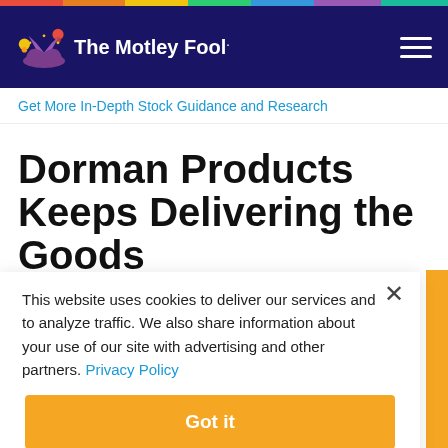The Motley Fool
Get More In-Depth Stock Guidance and Research
Dorman Products Keeps Delivering the Goods
By Dan Caplinger - Apr 27, 2016 at 11:14AM
This website uses cookies to deliver our services and to analyze traffic. We also share information about your use of our site with advertising and other partners. Privacy Policy
Got it
Cookie Settings